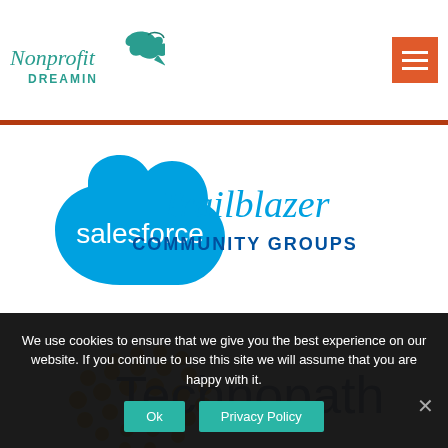[Figure (logo): Nonprofit Dreamin logo with teal bird and cursive/sans text]
[Figure (logo): Orange hamburger menu button with three white horizontal lines]
[Figure (logo): Salesforce Trailblazer Community Groups logo — blue cloud with 'salesforce' text and 'Trailblazer COMMUNITY GROUPS' in blue]
[Figure (logo): Technopath logo — orange dotted sphere and dark blue 'Technopath' wordmark]
We use cookies to ensure that we give you the best experience on our website. If you continue to use this site we will assume that you are happy with it.
Ok
Privacy Policy